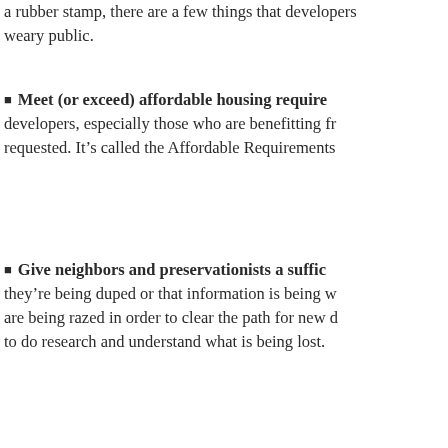a rubber stamp, there are a few things that developers weary public.
Meet (or exceed) affordable housing require developers, especially those who are benefitting fr requested. It's called the Affordable Requirements
Give neighbors and preservationists a suffic they're being duped or that information is being w are being razed in order to clear the path for new d to do research and understand what is being lost.